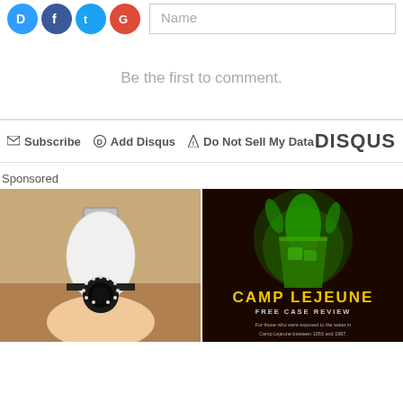[Figure (screenshot): Social media login icons (D, Facebook, Twitter, Google) and a Name input field]
Be the first to comment.
Subscribe  Add Disqus  Do Not Sell My Data  DISQUS
Sponsored
[Figure (photo): Hand holding a white security camera shaped like a light bulb]
[Figure (advertisement): Camp Lejeune Free Case Review advertisement with green liquid splash and yellow text]